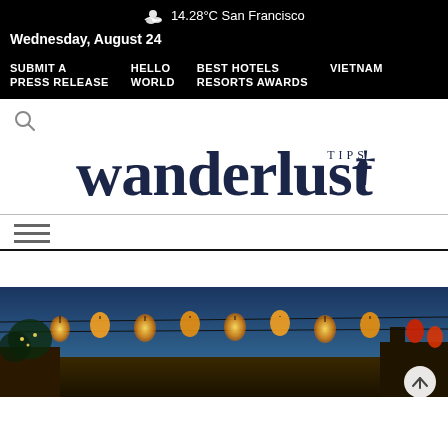☁ 14.28°C San Francisco
Wednesday, August 24
SUBMIT A PRESS RELEASE
HELLO WORLD
BEST HOTELS RESORTS AWARDS
VIETNAM
[Figure (logo): Wanderlust Tips magazine logo with 'TIPS' superscript and bold serif 'wanderlust' text in dark navy blue]
[Figure (photo): Night street scene with hanging lanterns illuminated in warm yellow/orange tones against a blue evening sky, appearing to be Hoi An, Vietnam]